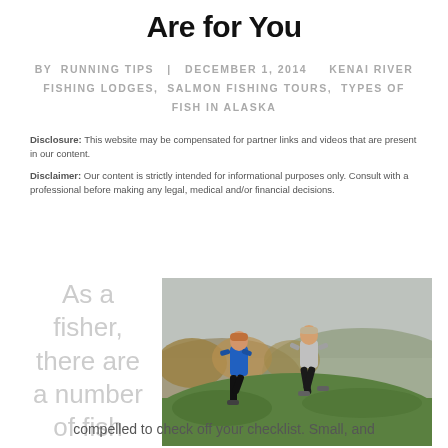Are for You
BY RUNNING TIPS   DECEMBER 1, 2014   KENAI RIVER FISHING LODGES,  SALMON FISHING TOURS,  TYPES OF FISH IN ALASKA
Disclosure: This website may be compensated for partner links and videos that are present in our content.
Disclaimer: Our content is strictly intended for informational purposes only. Consult with a professional before making any legal, medical and/or financial decisions.
As a fisher, there are a number of fish you feel
[Figure (photo): Two runners jogging on a green grassy hillside with autumn trees and overcast sky in the background. One runner wears a blue hoodie, the other wears a grey top with black pants.]
compelled to check off your checklist. Small, and